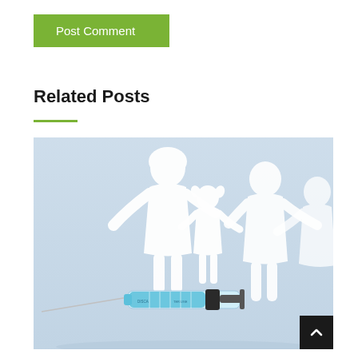Post Comment
Related Posts
[Figure (photo): A medical syringe with blue liquid lying in front of white paper cutout family figures (mother, daughter, father, and another adult) on a light blue background, representing vaccination or family healthcare.]